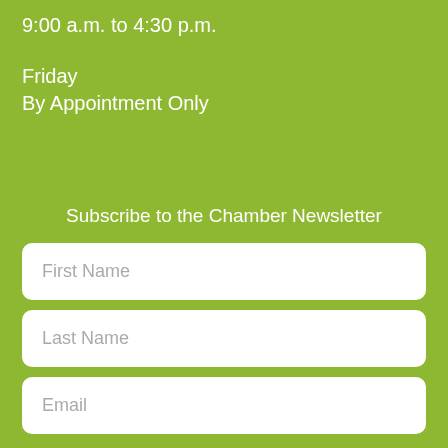9:00 a.m. to 4:30 p.m.
Friday
By Appointment Only
Subscribe to the Chamber Newsletter
First Name
Last Name
Email